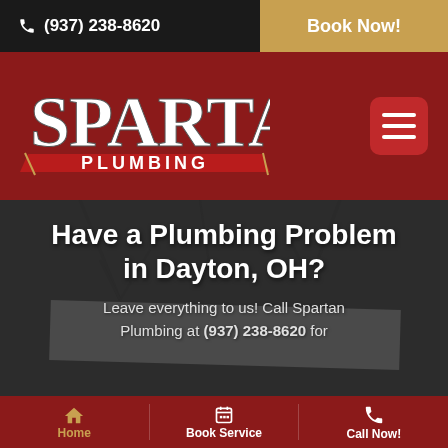☎ (937) 238-8620  |  Book Now!
[Figure (logo): Spartan Plumbing logo with large serif text SPARTAN above a red banner with white PLUMBING text]
Have a Plumbing Problem in Dayton, OH?
Leave everything to us! Call Spartan Plumbing at (937) 238-8620 for
Home  Book Service  Call Now!